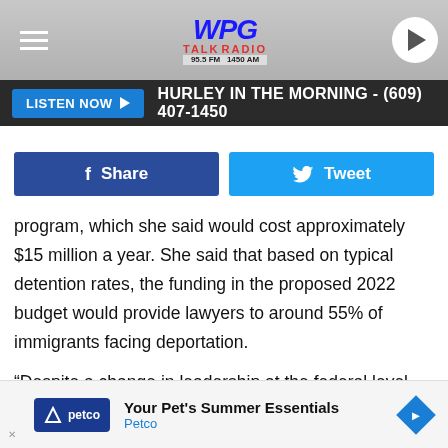[Figure (screenshot): WPG Talk Radio website header with logo, hamburger menu, play button, Listen Now bar, and social share buttons]
program, which she said would cost approximately $15 million a year. She said that based on typical detention rates, the funding in the proposed 2022 budget would provide lawyers to around 55% of immigrants facing deportation.
“Despite a change in leadership at the federal level, countless individuals continue to be detained and deported in New Jersey and around the country, tearing apart families and continuing to instill fear in immigrant communities,” Kachal
[Figure (screenshot): Petco advertisement: Your Pet's Summer Essentials]